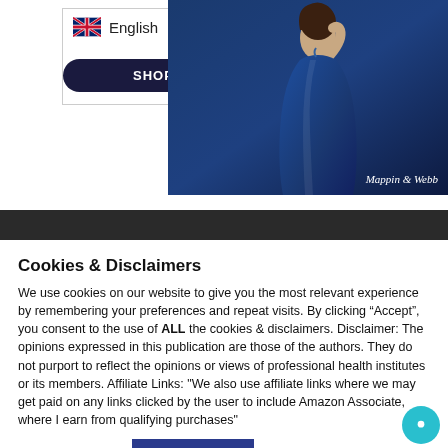[Figure (screenshot): Language selector dropdown showing UK flag and 'English' with chevron, and a 'SHOP NOW' button below]
[Figure (photo): Fashion photo of a woman in a blue satin dress with 'Mappin & Webb' branding]
Cookies & Disclaimers
We use cookies on our website to give you the most relevant experience by remembering your preferences and repeat visits. By clicking "Accept", you consent to the use of ALL the cookies & disclaimers. Disclaimer: The opinions expressed in this publication are those of the authors. They do not purport to reflect the opinions or views of professional health institutes or its members. Affiliate Links: "We also use affiliate links where we may get paid on any links clicked by the user to include Amazon Associate, where I earn from qualifying purchases"
Cookie settings
ACCEPT